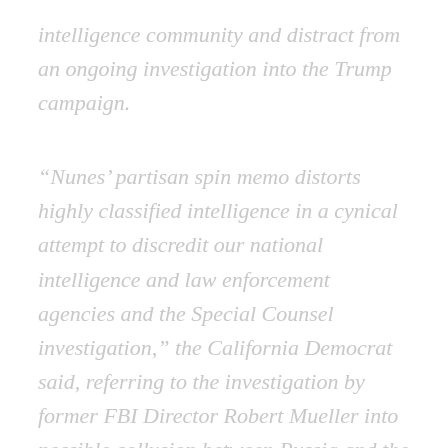intelligence community and distract from an ongoing investigation into the Trump campaign.
“Nunes’ partisan spin memo distorts highly classified intelligence in a cynical attempt to discredit our national intelligence and law enforcement agencies and the Special Counsel investigation,” the California Democrat said, referring to the investigation by former FBI Director Robert Mueller into possible collusion between Russia and the Trump campaign.